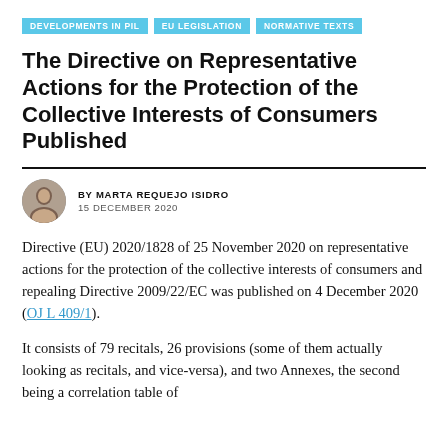DEVELOPMENTS IN PIL | EU LEGISLATION | NORMATIVE TEXTS
The Directive on Representative Actions for the Protection of the Collective Interests of Consumers Published
BY MARTA REQUEJO ISIDRO
15 DECEMBER 2020
Directive (EU) 2020/1828 of 25 November 2020 on representative actions for the protection of the collective interests of consumers and repealing Directive 2009/22/EC was published on 4 December 2020 (OJ L 409/1).
It consists of 79 recitals, 26 provisions (some of them actually looking as recitals, and vice-versa), and two Annexes, the second being a correlation table of